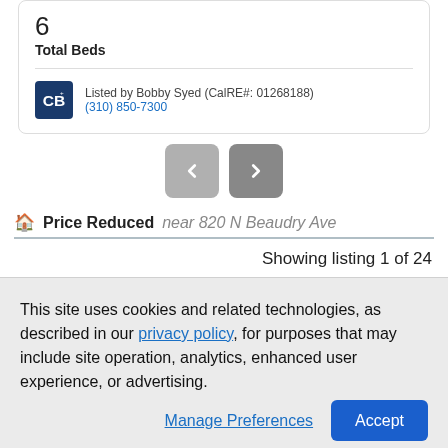6
Total Beds
Listed by Bobby Syed (CalRE#: 01268188)
(310) 850-7300
[Figure (other): Navigation buttons: left arrow (light gray) and right arrow (darker gray)]
Price Reduced near 820 N Beaudry Ave
Showing listing 1 of 24
[Figure (photo): Partial view of a property image strip at the top of a listing card]
This site uses cookies and related technologies, as described in our privacy policy, for purposes that may include site operation, analytics, enhanced user experience, or advertising.
Manage Preferences
Accept